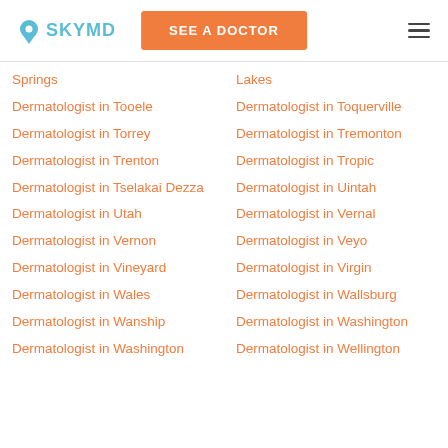SKYMD | SEE A DOCTOR
Springs
Lakes
Dermatologist in Tooele
Dermatologist in Toquerville
Dermatologist in Torrey
Dermatologist in Tremonton
Dermatologist in Trenton
Dermatologist in Tropic
Dermatologist in Tselakai Dezza
Dermatologist in Uintah
Dermatologist in Utah
Dermatologist in Vernal
Dermatologist in Vernon
Dermatologist in Veyo
Dermatologist in Vineyard
Dermatologist in Virgin
Dermatologist in Wales
Dermatologist in Wallsburg
Dermatologist in Wanship
Dermatologist in Washington
Dermatologist in Washington
Dermatologist in Wellington